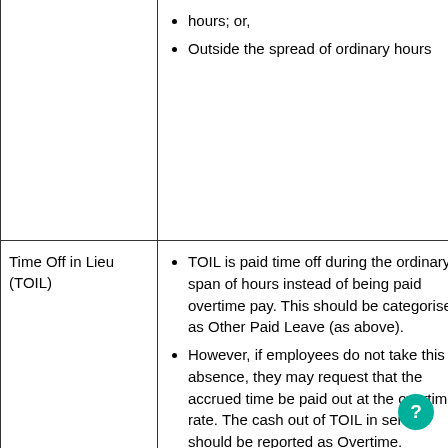| Category | Description |
| --- | --- |
|  | hours; or,
Outside the spread of ordinary hours |
| Time Off in Lieu (TOIL) | TOIL is paid time off during the ordinary span of hours instead of being paid overtime pay. This should be categorised as Other Paid Leave (as above).
However, if employees do not take this absence, they may request that the accrued time be paid out at the overtime rate. The cash out of TOIL in service should be reported as Overtime. |
|  | Also known as recall allowances |